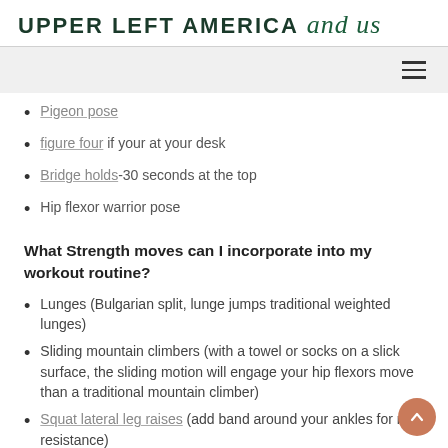UPPER LEFT AMERICA and us
Pigeon pose
figure four if your at your desk
Bridge holds-30 seconds at the top
Hip flexor warrior pose
What Strength moves can I incorporate into my workout routine?
Lunges (Bulgarian split, lunge jumps traditional weighted lunges)
Sliding mountain climbers (with a towel or socks on a slick surface, the sliding motion will engage your hip flexors move than a traditional mountain climber)
Squat lateral leg raises (add band around your ankles for more resistance)